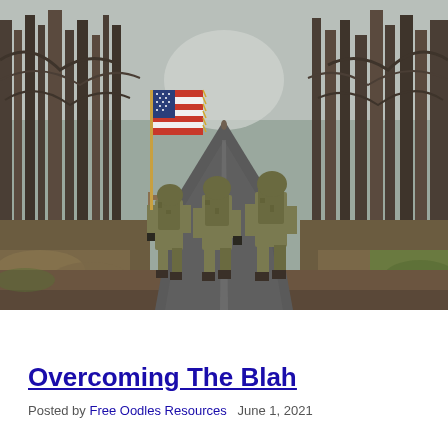[Figure (photo): Three soldiers in camouflage uniforms with backpacks walking away down a wet forest road. The left soldier carries a large American flag on a pole. Tall bare trees line both sides of the road. Overcast grey sky. Muddy ground on the sides.]
Overcoming The Blah
Posted by Free Oodles Resources   June 1, 2021